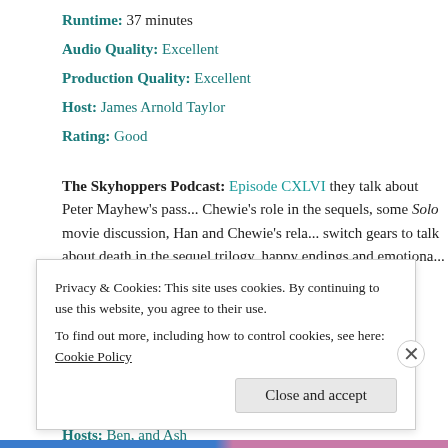Runtime: 37 minutes
Audio Quality: Excellent
Production Quality: Excellent
Host: James Arnold Taylor
Rating: Good
The Skyhoppers Podcast: Episode CXLVI they talk about Peter Mayhew’s pass... Chewie’s role in the sequels, some Solo movie discussion, Han and Chewie’s rela... switch gears to talk about death in the sequel trilogy, happy endings and emotiona... episode.
Podcast Network: N/A
Runtime: 1 hour 14 minute
Audio Quality: Excellent
Production Quality: Great
Hosts: Ben, and Ash
Privacy & Cookies: This site uses cookies. By continuing to use this website, you agree to their use. To find out more, including how to control cookies, see here: Cookie Policy
Close and accept